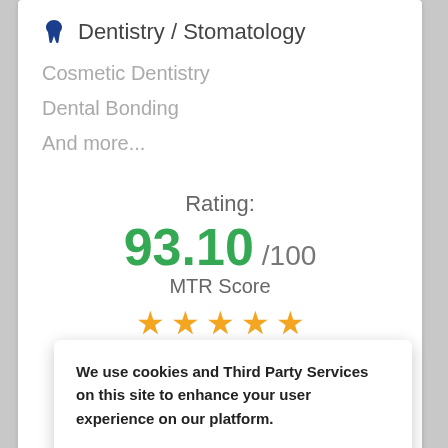Dentistry / Stomatology
Cosmetic Dentistry
Dental Bonding
And more...
Rating:
93.10 /100
MTR Score
[Figure (other): Five gold star rating icons]
We use cookies and Third Party Services on this site to enhance your user experience on our platform.
By clicking Accept or any link on this page, you are giving your consent for us to set cookies and use Third Party Services.